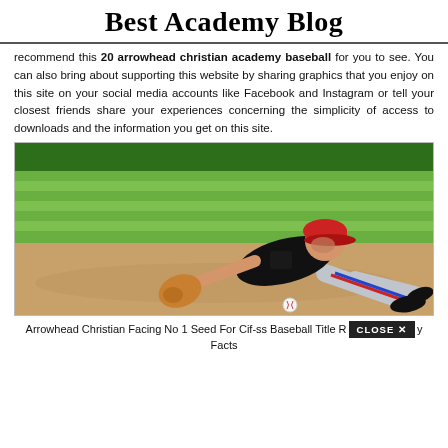Best Academy Blog
recommend this 20 arrowhead christian academy baseball for you to see. You can also bring about supporting this website by sharing graphics that you enjoy on this site on your social media accounts like Facebook and Instagram or tell your closest friends share your experiences concerning the simplicity of access to downloads and the information you get on this site.
[Figure (photo): A baseball player in a black jersey and red cap diving to field a ground ball on a baseball diamond, with green outfield grass in the background.]
Arrowhead Christian Facing No 1 Seed For Cif-ss Baseball Title R... [CLOSE X] ...y Facts